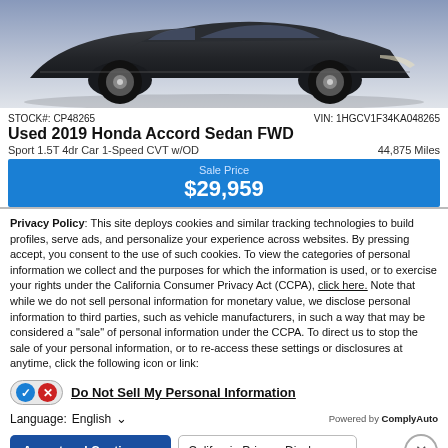[Figure (photo): Front/side view of a dark gray Honda Accord sedan cropped at the top]
STOCK#: CP48265   VIN: 1HGCV1F34KA048265
Used 2019 Honda Accord Sedan FWD
Sport 1.5T 4dr Car 1-Speed CVT w/OD   44,875 Miles
Sale Price $29,959
Privacy Policy: This site deploys cookies and similar tracking technologies to build profiles, serve ads, and personalize your experience across websites. By pressing accept, you consent to the use of such cookies. To view the categories of personal information we collect and the purposes for which the information is used, or to exercise your rights under the California Consumer Privacy Act (CCPA), click here. Note that while we do not sell personal information for monetary value, we disclose personal information to third parties, such as vehicle manufacturers, in such a way that may be considered a "sale" of personal information under the CCPA. To direct us to stop the sale of your personal information, or to re-access these settings or disclosures at anytime, click the following icon or link:
Do Not Sell My Personal Information
Language: English   Powered by ComplyAuto
Accept and Continue →   California Privacy Disclosures